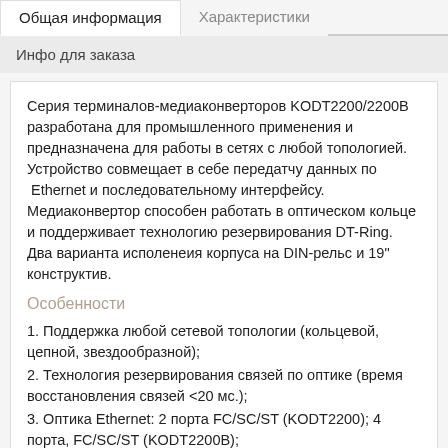Общая информация	Характеристики
Инфо для заказа
Серия терминалов-медиаконверторов KODT2200/2200В разработана для промышленного применения и предназначена для работы в сетях с любой топологией. Устройство совмещает в себе передатчу данных по  Ethernet и последовательному интерфейсу. Медиаконвертор способен работать в оптическом кольце и поддерживает технологию резервирования DT-Ring. Два варианта исполенеия корпуса на DIN-рельс и 19" конструктив.
Особенности
1. Поддержка любой сетевой топологии (кольцевой, цепной, звездообразной);
2. Технология резервирования связей по оптике (время восстановления связей <20 мс.);
3. Оптика Ethernet: 2 порта FC/SC/ST (KODT2200); 4 порта, FC/SC/ST (KODT2200В);
4. Три типа последовательных портов: 6 портов